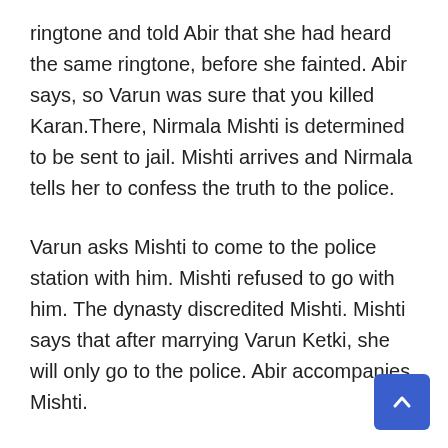ringtone and told Abir that she had heard the same ringtone, before she fainted. Abir says, so Varun was sure that you killed Karan.There, Nirmala Mishti is determined to be sent to jail. Mishti arrives and Nirmala tells her to confess the truth to the police.
Varun asks Mishti to come to the police station with him. Mishti refused to go with him. The dynasty discredited Mishti. Mishti says that after marrying Varun Ketki, she will only go to the police. Abir accompanies Mishti.